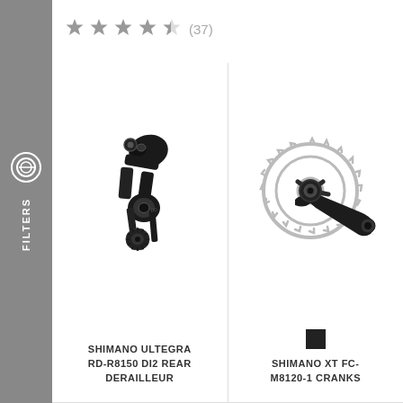[Figure (other): Star rating: 4.5 out of 5 stars with 37 reviews]
[Figure (other): Sidebar with filter icon and FILTERS text label, gray background]
[Figure (photo): Shimano Ultegra RD-R8150 Di2 Rear Derailleur product photo, black component]
SHIMANO ULTEGRA RD-R8150 DI2 REAR DERAILLEUR
[Figure (photo): Shimano XT FC-M8120-1 Cranks product photo, dark crankset with chainring]
SHIMANO XT FC-M8120-1 CRANKS